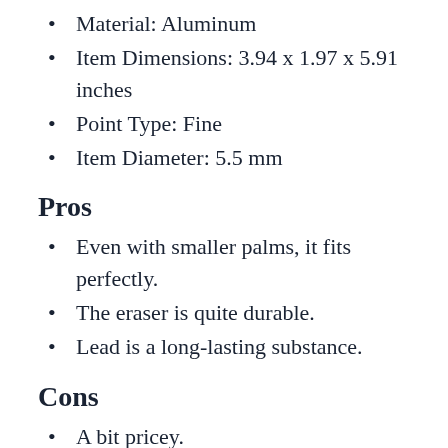Material: Aluminum
Item Dimensions: 3.94 x 1.97 x 5.91 inches
Point Type: Fine
Item Diameter: 5.5 mm
Pros
Even with smaller palms, it fits perfectly.
The eraser is quite durable.
Lead is a long-lasting substance.
Cons
A bit pricey.